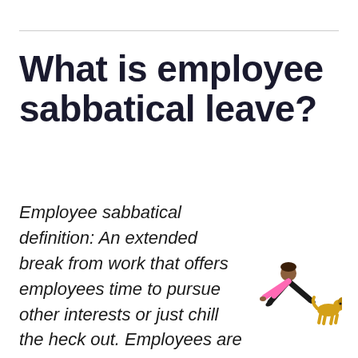What is employee sabbatical leave?
Employee sabbatical definition: An extended break from work that offers employees time to pursue other interests or just chill the heck out. Employees are still technically employees and they'll return to work after their time
[Figure (illustration): A cartoon illustration of a person doing a yoga or stretching pose with a small dog beside them]